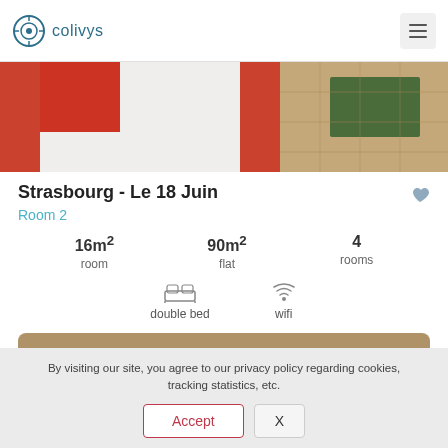colivys
[Figure (photo): Bedroom photo showing bed with red and white striped bedding and wooden floor with green rug]
Strasbourg - Le 18 Juin
Room 2
16m² room  90m² flat  4 rooms
double bed  wifi
Available from 22/12/2022
By visiting our site, you agree to our privacy policy regarding cookies, tracking statistics, etc.